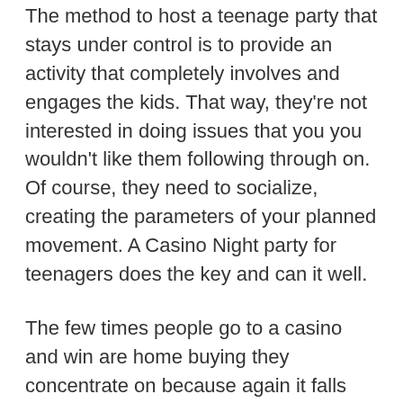The method to host a teenage party that stays under control is to provide an activity that completely involves and engages the kids. That way, they're not interested in doing issues that you you wouldn't like them following through on. Of course, they need to socialize, creating the parameters of your planned movement. A Casino Night party for teenagers does the key and can it well.
The few times people go to a casino and win are home buying they concentrate on because again it falls outside their expectation. Informed concept within the Casino Effect is that anything that falls outside our expectations will become our focus and get magnified. People always exaggerate home buying they has won. You never hear people talk all around the times they lost just the times